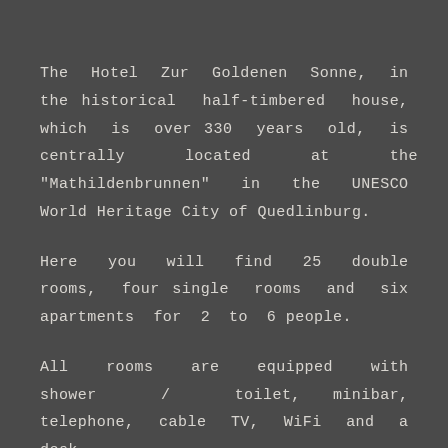The Hotel Zur Goldenen Sonne, in the historical half-timbered house, which is over 330 years old, is centrally located at the "Mathildenbrunnen" in the UNESCO World Heritage City of Quedlinburg.
Here you will find 25 double rooms, four single rooms and six apartments for 2 to 6 people.
All rooms are equipped with shower / toilet, minibar, telephone, cable TV, WiFi and a desk